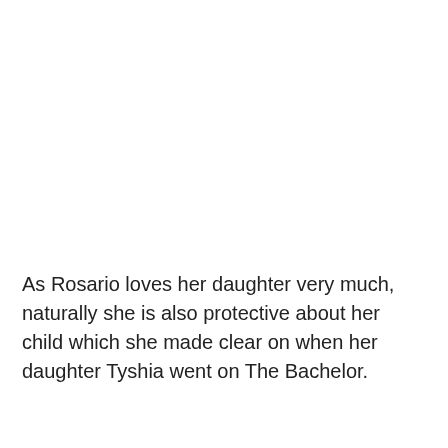As Rosario loves her daughter very much, naturally she is also protective about her child which she made clear on when her daughter Tyshia went on The Bachelor.